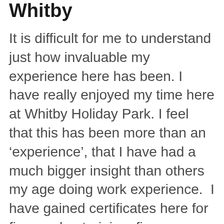Whitby
It is difficult for me to understand just how invaluable my experience here has been. I have really enjoyed my time here at Whitby Holiday Park. I feel that this has been more than an ‘experience’, that I have had a much bigger insight than others my age doing work experience.  I have gained certificates here for fire warden training, fire awareness, slips, trips and falls, manual handling